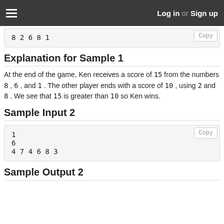Log in or Sign up
8 2 6 8 1
Explanation for Sample 1
At the end of the game, Ken receives a score of 15 from the numbers 8 , 6 , and 1 . The other player ends with a score of 10 , using 2 and 8 . We see that 15 is greater than 10 so Ken wins.
Sample Input 2
1
6
4 7 4 6 8 3
Sample Output 2